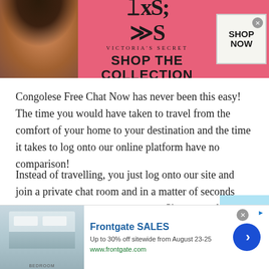[Figure (screenshot): Victoria's Secret advertisement banner with model, VS logo, 'SHOP THE COLLECTION' text, and 'SHOP NOW' button on pink background]
Congolese Free Chat Now has never been this easy! The time you would have taken to travel from the comfort of your home to your destination and the time it takes to log onto our online platform have no comparison!
Instead of travelling, you just log onto our site and join a private chat room and in a matter of seconds you see a stranger on your screen. Since, you don't have to leave your house, online Free Chat Now is undoubtedly much easier and more convenient compared to a face-to-face
[Figure (screenshot): Frontgate SALES advertisement: Up to 30% off sitewide from August 23-25, www.frontgate.com, with bedroom image and blue chevron button]